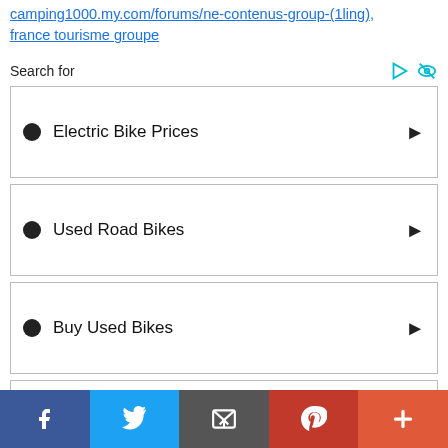… camping1000.my.com/forums/ne-contenus-group-(1ling), france tourisme groupe
Search for
Electric Bike Prices
Used Road Bikes
Buy Used Bikes
Bike Clearance Outlets
f  Twitter  Email  Pinterest  +